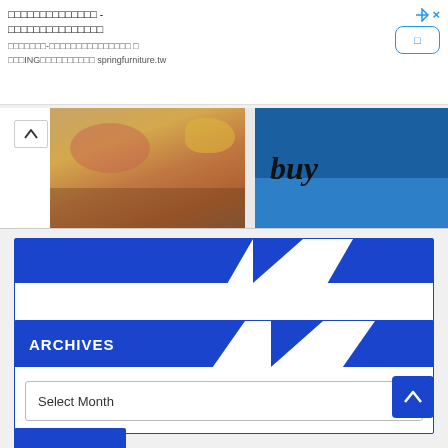[Figure (screenshot): Ad banner with Chinese text title, subtitle with springfniture.tw URL, blue outlined button, blue arrow and X icons]
[Figure (photo): Two photos side by side: left shows colorful fabric/clothing, right shows blue background with cursive text 'buy']
[Figure (screenshot): Blue section header box with diagonal cut, empty body]
ARCHIVES
[Figure (screenshot): Archives section with Select Month dropdown]
Select Month